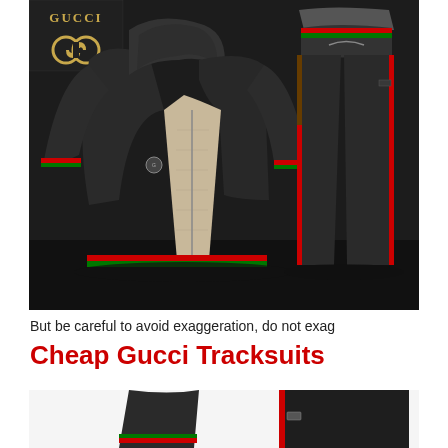[Figure (photo): A dark-themed product photo of a Gucci tracksuit set — a black velour hoodie jacket with tan/beige lining showing at the open zipper and red/green stripe accents at the cuffs and hem, displayed next to matching black track pants with red stripe and green stripe detail at the waistband and side. A gold Gucci logo with interlocking G symbol appears in the top-left corner of the image.]
But be careful to avoid exaggeration, do not exag
Cheap Gucci Tracksuits
[Figure (photo): Partial bottom-cropped view of another Gucci tracksuit — black jacket sleeve/torso visible on left and black track pants with red stripe on the right, on white background.]